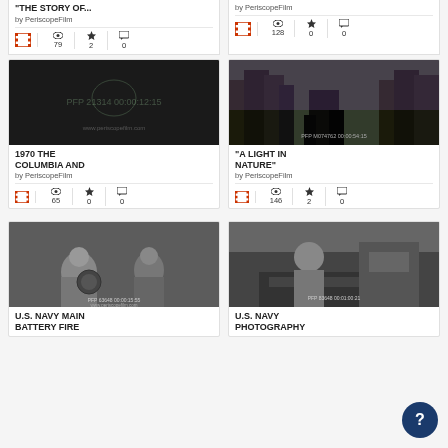[Figure (screenshot): Video card top partial showing title cut off at top, author 'by PeriscopeFilm', stats: film icon, 79 views, 2 stars, 0 comments]
[Figure (screenshot): Video card top partial showing author 'by PeriscopeFilm', stats: film icon, 128 views, 0 stars, 0 comments]
[Figure (screenshot): Video card for '1970 THE COLUMBIA AND' by PeriscopeFilm with dark video thumbnail, stats: 65 views, 0 stars, 0 comments]
[Figure (screenshot): Video card for 'A LIGHT IN NATURE' by PeriscopeFilm with forest/silhouette thumbnail, stats: 146 views, 2 stars, 0 comments]
[Figure (screenshot): Video card for 'U.S. NAVY MAIN BATTERY FIRE' by PeriscopeFilm with black-and-white thumbnail of sailors]
[Figure (screenshot): Video card for 'U.S. NAVY PHOTOGRAPHY' by PeriscopeFilm with black-and-white thumbnail of man at equipment]